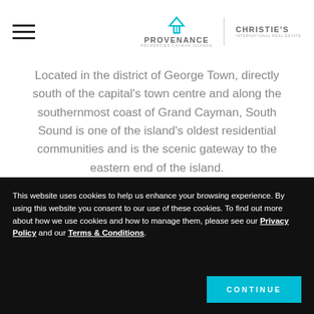PROVENANCE PROPERTIES CAYMAN ISLANDS | CHRISTIE'S INTERNATIONAL REAL ESTATE
Located in the district of George Town, directly south of the capital's town centre and along the southernmost coast of Grand Cayman, South Sound is one of the island's oldest residential communities and is the scenic gateway to the eastern end of the island.
This website uses cookies to help us enhance your browsing experience. By using this website you consent to our use of these cookies. To find out more about how we use cookies and how to manage them, please see our Privacy Policy and our Terms & Conditions.